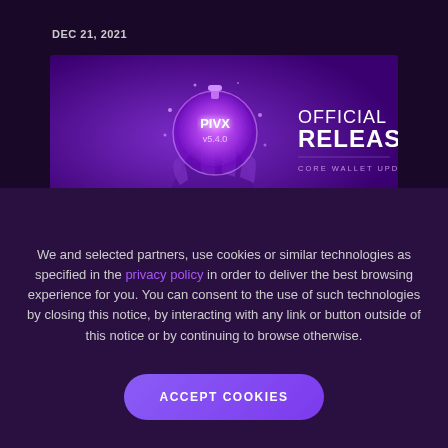DEC 21, 2021
[Figure (illustration): PIVX v5.4.0 Official Release banner image showing a purple glowing ornament ball held by a digital hand, with text 'PIVX v5.4.0 OFFICIAL RELEASE CORE WALLET UPDATE']
PIVX v5.4.0 Core wallet has been
We and selected partners, use cookies or similar technologies as specified in the privacy policy in order to deliver the best browsing experience for you. You can consent to the use of such technologies by closing this notice, by interacting with any link or button outside of this notice or by continuing to browse otherwise.
ACCEPT COOKIES